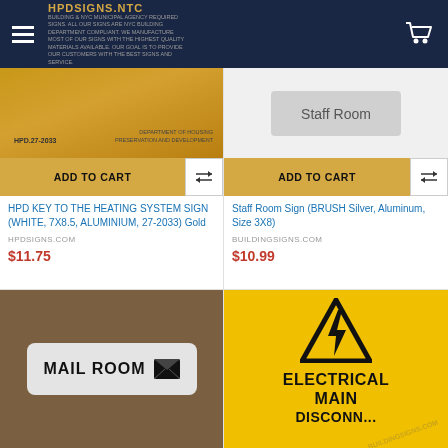HPDSIGNS.NTC
[Figure (photo): Gold aluminum HPD Key to the Heating System Sign, 27-2033, with Department of Housing text]
ADD TO CART
HPD KEY TO THE HEATING SYSTEM SIGN (WHITE, 7X8.5, ALUMINIUM, 27-2033) Gold
HPDSIGNS.COM
$11.75
[Figure (photo): Staff Room Sign placeholder]
ADD TO CART
Staff Room Sign (BRUSH Silver, Aluminum, Size 3X8)
BUILDINGSIGNS.COM
$10.99
[Figure (photo): Mail Room sign, silver with envelope icon]
[Figure (photo): Electrical Main Disconnect warning sign, yellow background with lightning bolt triangle]